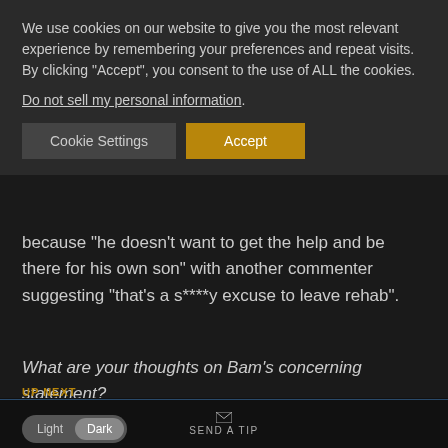We use cookies on our website to give you the most relevant experience by remembering your preferences and repeat visits. By clicking "Accept", you consent to the use of ALL the cookies.
Do not sell my personal information.
Cookie Settings | Accept
because "he doesn't want to get the help and be there for his own son" with another commenter suggesting "that's a s****y excuse to leave rehab".
What are your thoughts on Bam's concerning statement?
UP NEXT
WAYNE ROONEY 'WAS ARRESTED ON PUBLIC INTOXICATION ...G CHARGES IN THE U.S. BEFORE CHRISTMAS'
SEND A TIP